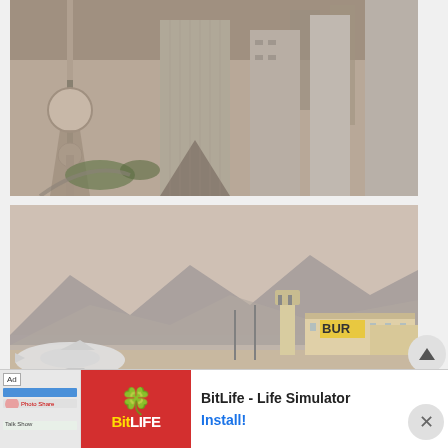[Figure (photo): Aerial view of Shanghai skyline featuring the Oriental Pearl Tower and modern skyscrapers along the Huangpu River]
[Figure (photo): Airport terminal building with 'BUR' sign visible, mountains in background, hazy sky, airplane visible on left]
[Figure (screenshot): Advertisement banner for BitLife - Life Simulator app with red background, sperm icon logo, and Install button]